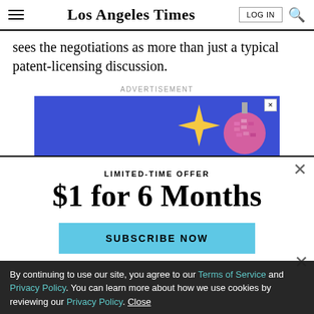Los Angeles Times
sees the negotiations as more than just a typical patent-licensing discussion.
ADVERTISEMENT
[Figure (illustration): Blue advertisement banner with disco ball and star graphic, close button in top right corner]
LIMITED-TIME OFFER
$1 for 6 Months
SUBSCRIBE NOW
By continuing to use our site, you agree to our Terms of Service and Privacy Policy. You can learn more about how we use cookies by reviewing our Privacy Policy. Close